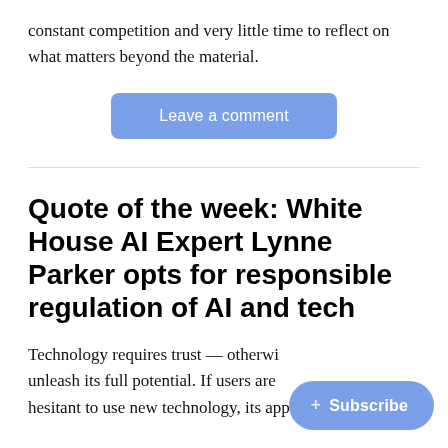constant competition and very little time to reflect on what matters beyond the material.
Leave a comment
Quote of the week: White House AI Expert Lynne Parker opts for responsible regulation of AI and tech
Technology requires trust — otherwi… unleash its full potential. If users are… hesitant to use new technology, its application won't